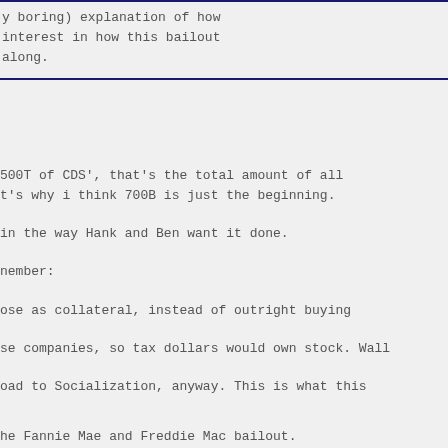y boring) explanation of how
interest in how this bailout
along.
500T of CDS', that's the total amount of all
t's why i think 700B is just the beginning.
in the way Hank and Ben want it done.
nember:
ose as collateral, instead of outright buying
se companies, so tax dollars would own stock. Wall
oad to Socialization, anyway. This is what this
he Fannie Mae and Freddie Mac bailout.
dit crunch began last year, in part by betting big on
licit government backing and relative safety
s in the black.
w parts of the bond market remain pressured, a